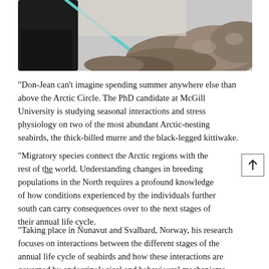[Figure (photo): A person in dark clothing working outdoors among rocks, holding a teal/blue tool or instrument, in an Arctic or rocky landscape setting.]
“Don-Jean can’t imagine spending summer anywhere else than above the Arctic Circle. The PhD candidate at McGill University is studying seasonal interactions and stress physiology on two of the most abundant Arctic-nesting seabirds, the thick-billed murre and the black-legged kittiwake.
“Migratory species connect the Arctic regions with the rest of the world. Understanding changes in breeding populations in the North requires a profound knowledge of how conditions experienced by the individuals further south can carry consequences over to the next stages of their annual life cycle.
“Taking place in Nunavut and Svalbard, Norway, his research focuses on interactions between the different stages of the annual life cycle of seabirds and how these interactions are governed by endocrinological and behavioural mechanisms. He tracks the birds’ movement throughout the year using small biologgers